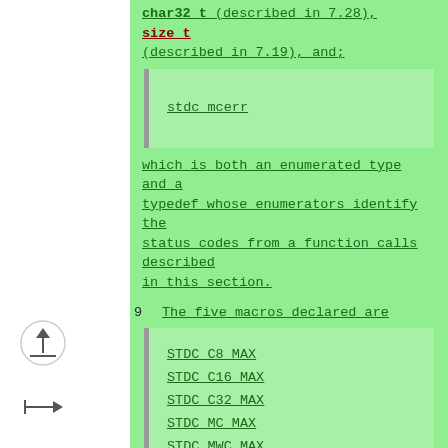char32_t (described in 7.28), size_t (described in 7.19), and;
stdc_mcerr
which is both an enumerated type and a typedef whose enumerators identify the status codes from a function calls described in this section.
9   The five macros declared are
STDC_C8_MAX
STDC_C16_MAX
STDC_C32_MAX
STDC_MC_MAX
STDC_MWC_MAX